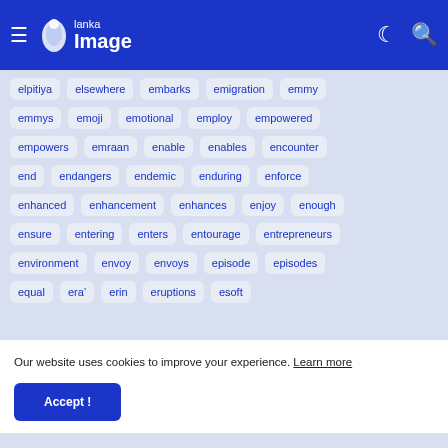Lanka Image — navigation bar with hamburger menu, logo, moon icon, search icon
elpitiya
elsewhere
embarks
emigration
emmy
emmys
emoji
emotional
employ
empowered
empowers
emraan
enable
enables
encounter
end
endangers
endemic
enduring
enforce
enhanced
enhancement
enhances
enjoy
enough
ensure
entering
enters
entourage
entrepreneurs
environment
envoy
envoys
episode
episodes
equal
era&#8217;
erin
eruptions
esoft
Our website uses cookies to improve your experience. Learn more
Accept !